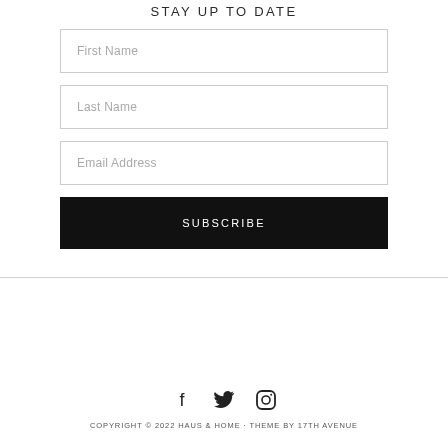STAY UP TO DATE
First Name
Last Name
Email Address
SUBSCRIBE
[Figure (infographic): Social media icons: Facebook, Twitter, Instagram]
COPYRIGHT © 2022 HAUS & HOME · THEME BY 17TH AVENUE